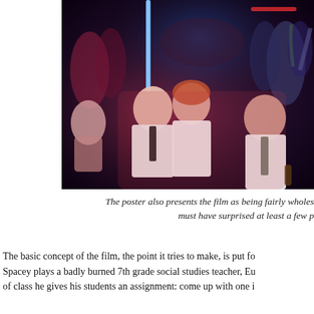[Figure (photo): A nightclub or bar scene with several people in white shirts and ties, lit by neon blue and red lights, crowded with people in the background.]
The poster also presents the film as being fairly wholes must have surprised at least a few p
The basic concept of the film, the point it tries to make, is put fo Spacey plays a badly burned 7th grade social studies teacher, Eu of class he gives his students an assignment: come up with one i